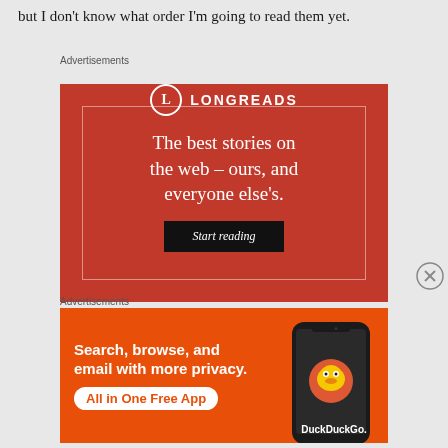but I don't know what order I'm going to read them yet.
Advertisements
[Figure (infographic): Longreads advertisement on red background with logo, tagline 'The best stories on the web – ours, and everyone else's.' and a 'Start reading' button]
Advertisements
[Figure (infographic): DuckDuckGo advertisement on orange background: 'Search, browse, and email with more privacy. All in One Free App' with phone graphic and DuckDuckGo logo]